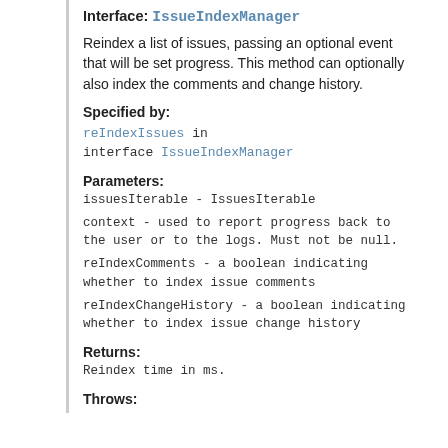Interface: IssueIndexManager
Reindex a list of issues, passing an optional event that will be set progress. This method can optionally also index the comments and change history.
Specified by:
reIndexIssues in interface IssueIndexManager
Parameters:
issuesIterable - IssuesIterable
context - used to report progress back to the user or to the logs. Must not be null.
reIndexComments - a boolean indicating whether to index issue comments
reIndexChangeHistory - a boolean indicating whether to index issue change history
Returns:
Reindex time in ms.
Throws: